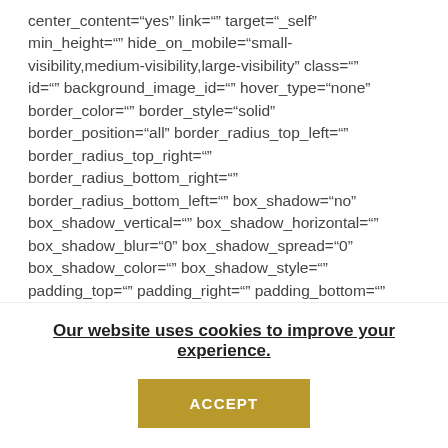center_content="yes" link="" target="_self" min_height="" hide_on_mobile="small-visibility,medium-visibility,large-visibility" class="" id="" background_image_id="" hover_type="none" border_color="" border_style="solid" border_position="all" border_radius_top_left="" border_radius_top_right="" border_radius_bottom_right="" border_radius_bottom_left="" box_shadow="no" box_shadow_vertical="" box_shadow_horizontal="" box_shadow_blur="0" box_shadow_spread="0" box_shadow_color="" box_shadow_style="" padding_top="" padding_right="" padding_bottom="" padding_left="" margin_top="" margin_bottom=""
Our website uses cookies to improve your experience.
ACCEPT